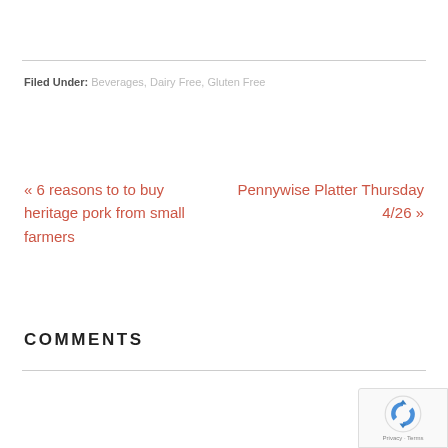Filed Under: Beverages, Dairy Free, Gluten Free
« 6 reasons to to buy heritage pork from small farmers
Pennywise Platter Thursday 4/26 »
COMMENTS
[Figure (logo): reCAPTCHA badge with Privacy + Terms text]